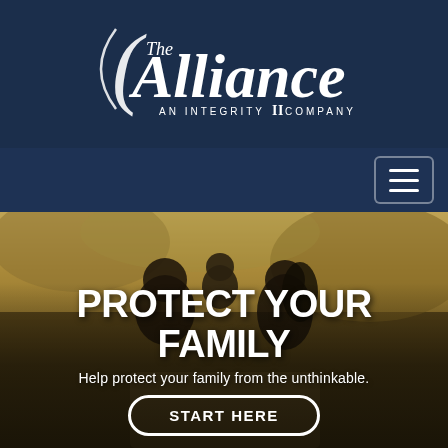[Figure (logo): The Alliance – An Integrity Company logo in white script on dark navy background]
[Figure (other): Navigation bar with hamburger menu button]
[Figure (photo): Background photo of a family (man, child, woman) walking through a sunlit outdoor path viewed from behind, with golden foliage]
PROTECT YOUR FAMILY
Help protect your family from the unthinkable.
START HERE